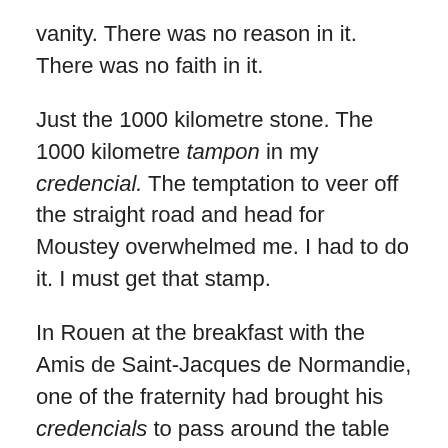vanity. There was no reason in it. There was no faith in it.
Just the 1000 kilometre stone. The 1000 kilometre tampon in my credencial. The temptation to veer off the straight road and head for Moustey overwhelmed me. I had to do it. I must get that stamp.
In Rouen at the breakfast with the Amis de Saint-Jacques de Normandie, one of the fraternity had brought his credencials to pass around the table in that café next to Rouen cathedral. Pierre had come down this same route: the Via Turonensis, then to Blaye and across the Médoc, through Bordeaux and into the Landes. “And then, when you get to the Landes,” he said, “the road is so terribly featureless and the demons will get into your head!” All the other pilgrims around the table looked at Pierre, awaiting his solution. “If you divert to the east you can find the